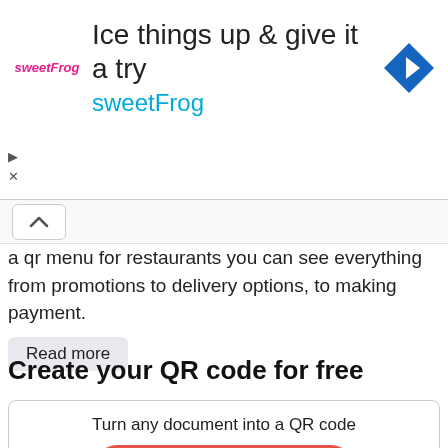[Figure (screenshot): Advertisement banner for sweetFrog with navigation icon and logo]
a qr menu for restaurants you can see everything from promotions to delivery options, to making payment.
Read more
Create your QR code for free
Turn any document into a QR code
UPLOAD FILE
Converts other types of elements: